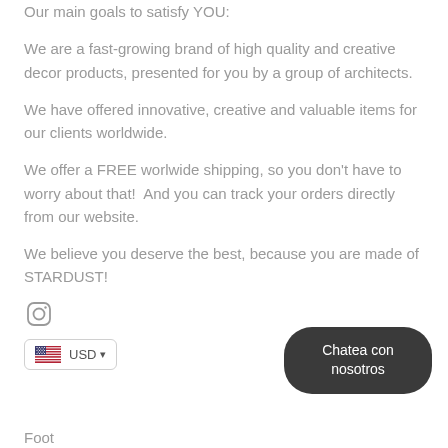Our main goals to satisfy YOU:
We are a fast-growing brand of high quality and creative decor products, presented for you by a group of architects.
We have offered innovative, creative and valuable items for our clients worldwide.
We offer a FREE worlwide shipping, so you don't have to worry about that!  And you can track your orders directly from our website.
We believe you deserve the best, because you are made of STARDUST!
[Figure (logo): Instagram icon (circle with camera outline)]
[Figure (other): USD currency selector with US flag and dropdown arrow]
Chatea con nosotros
Foot...